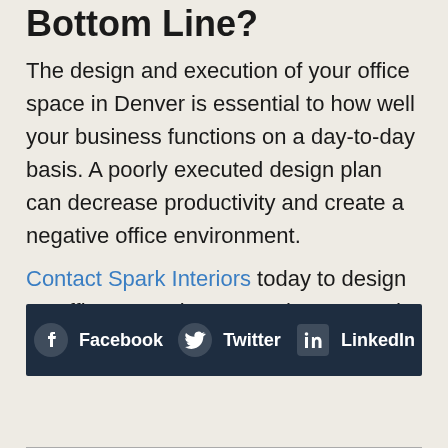Bottom Line?
The design and execution of your office space in Denver is essential to how well your business functions on a day-to-day basis. A poorly executed design plan can decrease productivity and create a negative office environment.
Contact Spark Interiors today to design an office space in Denver that you and your employees will love.
[Figure (infographic): Social sharing bar with dark navy background showing Facebook, Twitter, and LinkedIn buttons with icons]